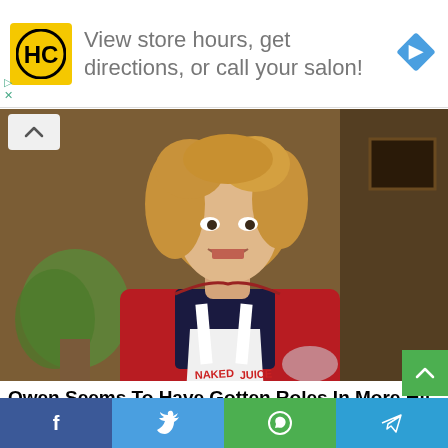[Figure (other): Advertisement banner: HC logo (yellow square with HC letters), text 'View store hours, get directions, or call your salon!', and a blue navigation diamond icon on the right]
[Figure (photo): A man with curly blond hair wearing a red long-sleeve shirt and a white apron, holding a glass, standing in what appears to be a kitchen or restaurant setting. Text partially visible on apron reads 'NAKED...']
Owen Seems To Have Gotten Roles In More Hit Movies Than His Bro
BRAINBERRIES